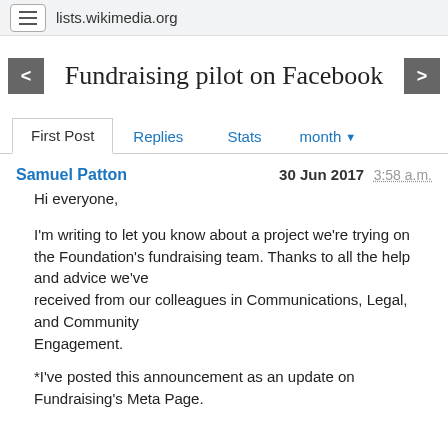lists.wikimedia.org
Fundraising pilot on Facebook
First Post   Replies   Stats   month
Samuel Patton   30 Jun 2017 3:58 a.m.
Hi everyone,

I'm writing to let you know about a project we're trying on the Foundation's fundraising team. Thanks to all the help and advice we've received from our colleagues in Communications, Legal, and Community Engagement.

*I've posted this announcement as an update on Fundraising's Meta Page.